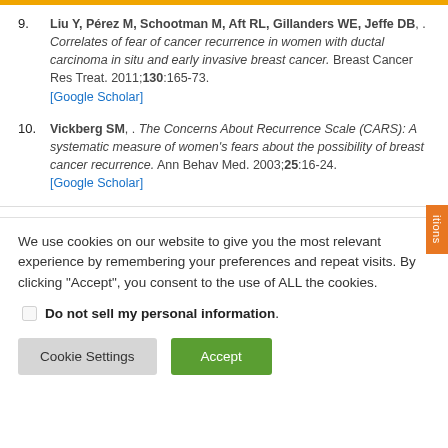9. Liu Y, Pérez M, Schootman M, Aft RL, Gillanders WE, Jeffe DB, . Correlates of fear of cancer recurrence in women with ductal carcinoma in situ and early invasive breast cancer. Breast Cancer Res Treat. 2011;130:165-73. [Google Scholar]
10. Vickberg SM, . The Concerns About Recurrence Scale (CARS): A systematic measure of women's fears about the possibility of breast cancer recurrence. Ann Behav Med. 2003;25:16-24. [Google Scholar]
We use cookies on our website to give you the most relevant experience by remembering your preferences and repeat visits. By clicking "Accept", you consent to the use of ALL the cookies.
Do not sell my personal information.